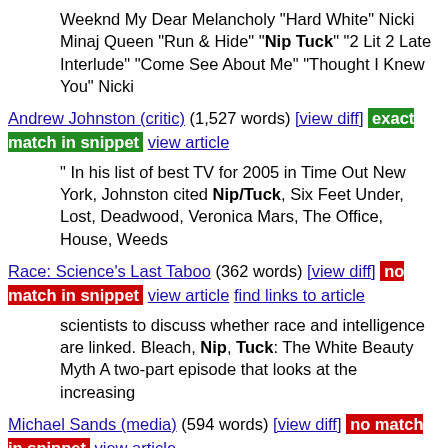Weeknd My Dear Melancholy "Hard White" Nicki Minaj Queen "Run & Hide" "Nip Tuck" "2 Lit 2 Late Interlude" "Come See About Me" "Thought I Knew You" Nicki
Andrew Johnston (critic) (1,527 words) [view diff] exact match in snippet view article
" In his list of best TV for 2005 in Time Out New York, Johnston cited Nip/Tuck, Six Feet Under, Lost, Deadwood, Veronica Mars, The Office, House, Weeds
Race: Science's Last Taboo (362 words) [view diff] no match in snippet view article find links to article
scientists to discuss whether race and intelligence are linked. Bleach, Nip, Tuck: The White Beauty Myth A two-part episode that looks at the increasing
Michael Sands (media) (594 words) [view diff] no match in snippet view article
Today, Grading the star couples, 4th November